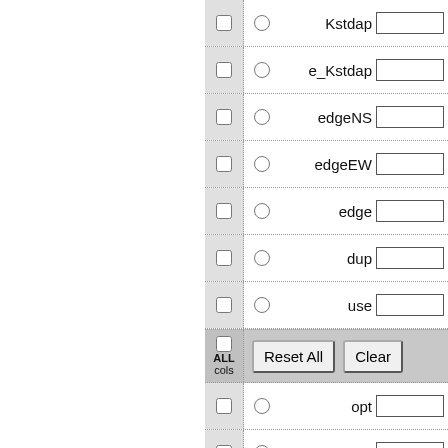| check | radio | label | input |
| --- | --- | --- | --- |
| ☐ | ○ | Kstdap |  |
| ☐ | ○ | e_Kstdap |  |
| ☐ | ○ | edgeNS |  |
| ☐ | ○ | edgeEW |  |
| ☐ | ○ | edge |  |
| ☐ | ○ | dup |  |
| ☐ | ○ | use |  |
| ALL cols | Reset All | Clear |  |
| ☐ | ○ | opt |  |
| ☐ | ○ | Dopt |  |
| ☐ | ○ | PAopt |  |
| ☐ | ○ | Bmag |  |